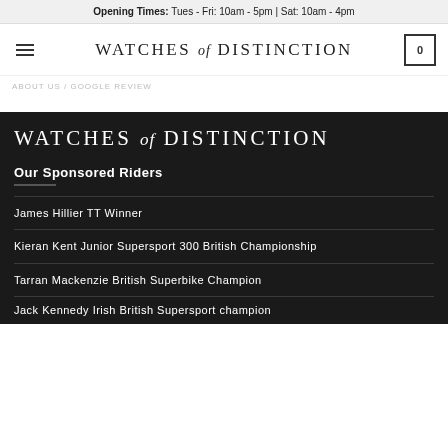Opening Times: Tues - Fri: 10am - 5pm | Sat: 10am - 4pm
[Figure (logo): Watches of Distinction logo in header, serif font with decorative lettering]
ABOUT US / GOOGLE REVIEW
[Figure (logo): Watches of Distinction logo on dark background, large serif font with decorative lettering]
Our Sponsored Riders
James Hillier TT Winner
Kieran Kent Junior Supersort 300 British Championship
Tarran Mackenzie British Superbike Champion
Jack Kennedy Irish British Supersport champion